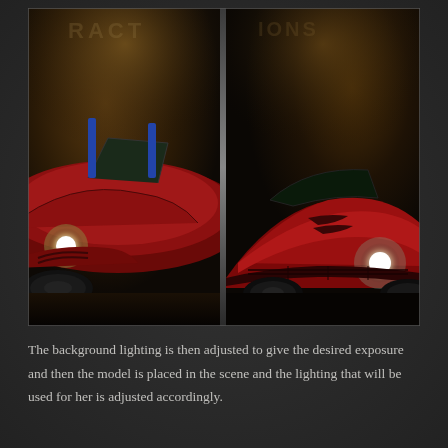[Figure (photo): Two red sports cars in a dark garage scene. On the left, a classic open-top red roadster (vintage style) with a bright round headlight. On the right, a modern red muscle car with its headlight also illuminated. The image is split vertically in the middle, creating a side-by-side before/after style composite, both lit dramatically in a dimly lit garage with dark floors and warm ambient background light.]
The background lighting is then adjusted to give the desired exposure and then the model is placed in the scene and the lighting that will be used for her is adjusted accordingly.